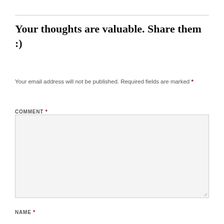Your thoughts are valuable. Share them :)
Your email address will not be published. Required fields are marked *
COMMENT *
NAME *